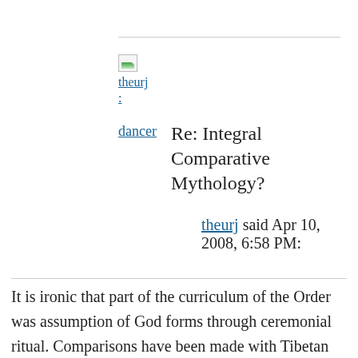theurj
:
dancer   Re: Integral Comparative Mythology?
theurj said Apr 10, 2008, 6:58 PM:
It is ironic that part of the curriculum of the Order was assumption of God forms through ceremonial ritual. Comparisons have been made with Tibetan deity yoga.